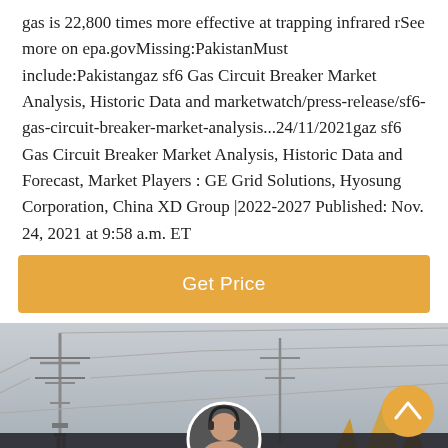gas is 22,800 times more effective at trapping infrared rSee more on epa.govMissing:PakistanMust include:Pakistangaz sf6 Gas Circuit Breaker Market Analysis, Historic Data and marketwatch/press-release/sf6-gas-circuit-breaker-market-analysis...24/11/2021gaz sf6 Gas Circuit Breaker Market Analysis, Historic Data and Forecast, Market Players : GE Grid Solutions, Hyosung Corporation, China XD Group |2022-2027 Published: Nov. 24, 2021 at 9:58 a.m. ET
[Figure (other): Orange button labeled 'Get Price']
[Figure (photo): Grayscale photo of electrical power transmission towers and lines with yellow/orange angular structures in background. Bottom overlay shows a dark semi-transparent bar with 'Leave Message' on left, customer service avatar in center, 'Chat Online' on right, and an orange scroll-to-top button.]